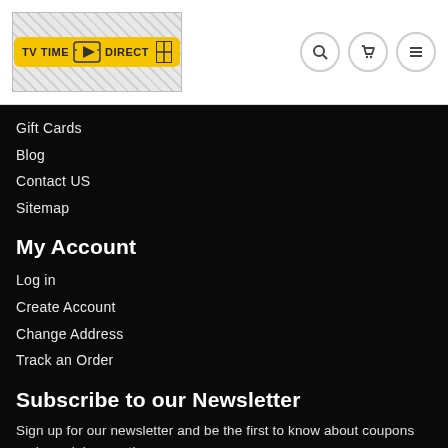TV TIME DIRECT
Gift Cards
Blog
Contact US
Sitemap
My Account
Log in
Create Account
Change Address
Track an Order
Subscribe to our Newsletter
Sign up for our newsletter and be the first to know about coupons and special promotions.